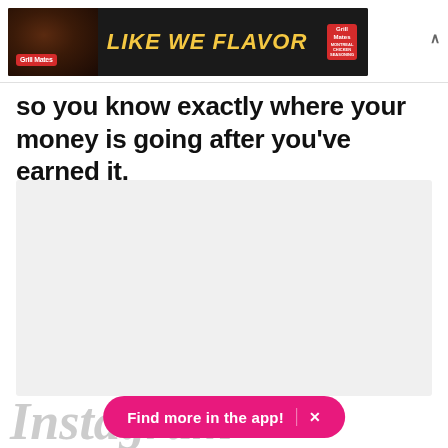[Figure (screenshot): Advertisement banner for McCormick Grill Mates with text 'LIKE WE FLAVOR' on dark background]
so you know exactly where your money is going after you've earned it.
[Figure (screenshot): Gray content placeholder area with Instagram watermark text and 'Find more in the app!' call-to-action button in pink]